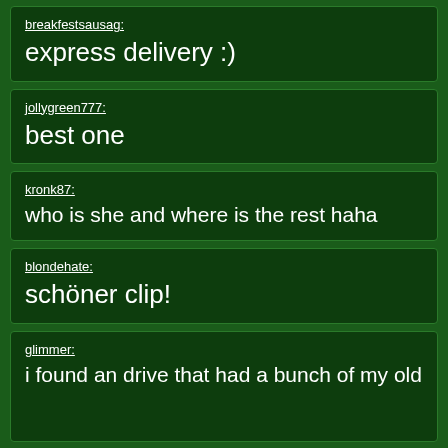breakfestsausag:
express delivery :)
jollygreen777:
best one
kronk87:
who is she and where is the rest haha
blondehate:
schöner clip!
glimmer:
i found an drive that had a bunch of my old